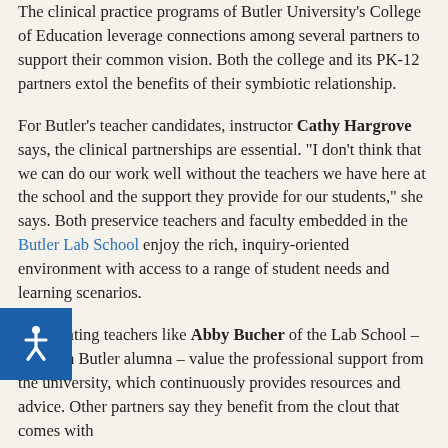The clinical practice programs of Butler University's College of Education leverage connections among several partners to support their common vision. Both the college and its PK-12 partners extol the benefits of their symbiotic relationship.
For Butler's teacher candidates, instructor Cathy Hargrove says, the clinical partnerships are essential. “I don’t think that we can do our work well without the teachers we have here at the school and the support they provide for our students,” she says. Both preservice teachers and faculty embedded in the Butler Lab School enjoy the rich, inquiry-oriented environment with access to a range of student needs and learning scenarios.
Cooperating teachers like Abby Bucher of the Lab School – herself a Butler alumna – value the professional support from the university, which continuously provides resources and advice. Other partners say they benefit from the clout that comes with
[Figure (other): Blue accessibility icon button (wheelchair figure) in the bottom-left corner of the page]